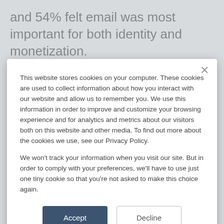and 54% felt email was most important for both identity and monetization.
Rather than attempt to create a cookie replacement or a universal ID that may re-
[Figure (screenshot): Cookie consent modal dialog with Accept and Decline buttons, containing privacy policy text about cookies and tracking.]
This website stores cookies on your computer. These cookies are used to collect information about how you interact with our website and allow us to remember you. We use this information in order to improve and customize your browsing experience and for analytics and metrics about our visitors both on this website and other media. To find out more about the cookies we use, see our Privacy Policy.
We won't track your information when you visit our site. But in order to comply with your preferences, we'll have to use just one tiny cookie so that you're not asked to make this choice again.